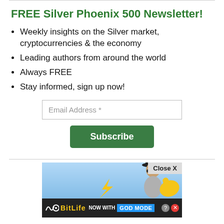FREE Silver Phoenix 500 Newsletter!
Weekly insights on the Silver market, cryptocurrencies & the economy
Leading authors from around the world
Always FREE
Stay informed, sign up now!
[Figure (screenshot): Email subscription form with 'Email Address *' input field and green 'Subscribe' button]
[Figure (screenshot): BitLife advertisement banner with 'NOW WITH GOD MODE' text, person in cap, and Close X button]